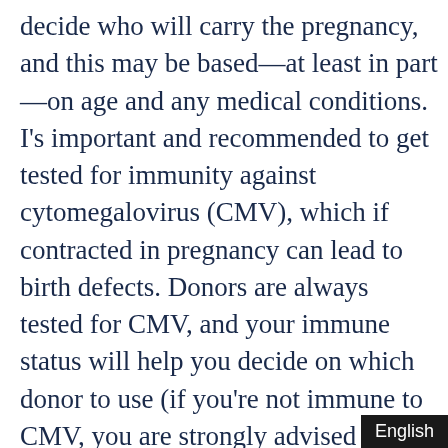decide who will carry the pregnancy, and this may be based—at least in part—on age and any medical conditions. I's important and recommended to get tested for immunity against cytomegalovirus (CMV), which if contracted in pregnancy can lead to birth defects. Donors are always tested for CMV, and your immune status will help you decide on which donor to use (if you're not immune to CMV, you are strongly advised to use a CMV-negative donor).
If you are using known (or designated) donor's sperm in the doctor's office, FDA-mandatory testing for communicable diseases will have to be performed and sperm quarantined for at least 3 months or